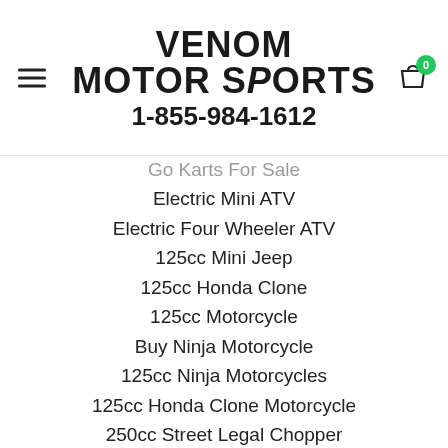[Figure (logo): Venom Motorsports logo with text 'VENOM MOTORSPORTS' and phone number '1-855-984-1612']
Go Karts For Sale
Electric Mini ATV
Electric Four Wheeler ATV
125cc Mini Jeep
125cc Honda Clone
125cc Motorcycle
Buy Ninja Motorcycle
125cc Ninja Motorcycles
125cc Honda Clone Motorcycle
250cc Street Legal Chopper
Mini Chopper
Grom Clone for Sale
Kawasaki Z125 Clone